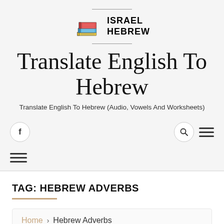[Figure (logo): Stack of colorful books logo with 'ISRAEL HEBREW' text beside it]
Translate English To Hebrew
Translate English To Hebrew (Audio, Vowels And Worksheets)
TAG: HEBREW ADVERBS
Home > Hebrew Adverbs